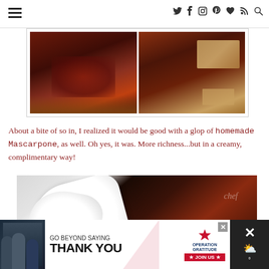Navigation header with hamburger menu and social icons (Twitter, Facebook, Instagram, Pinterest, Bloglovin, RSS, Search)
[Figure (photo): Two side-by-side close-up photos of berry pie filling with flaky crust, showing dark red berry filling and golden brown crust pieces]
About a bite of so in, I realized it would be good with a glop of homemade Mascarpone, as well. Oh yes, it was. More richness...but in a creamy, complimentary way!
[Figure (photo): Close-up photo of a slice of berry pie topped with a large dollop of white mascarpone cream, showing dark berry filling and flaky crust]
[Figure (photo): Bottom advertisement: Operation Gratitude - Go Beyond Saying Thank You - Join Us banner ad with military/civilian photo on left]